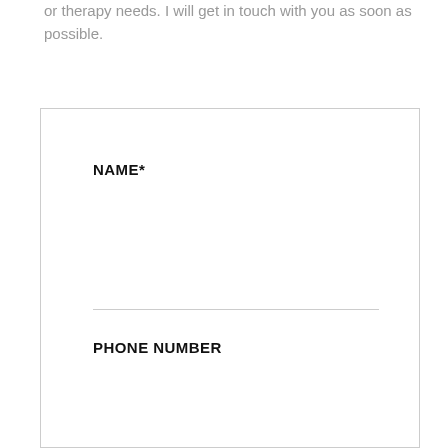or therapy needs. I will get in touch with you as soon as possible.
NAME*
PHONE NUMBER